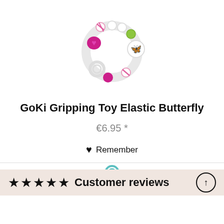[Figure (photo): GoKi Gripping Toy Elastic Butterfly product image — a circular beaded ring with pink/magenta heart bead, white beads, green bead, striped beads, and a butterfly medallion, with two white ring handles]
GoKi Gripping Toy Elastic Butterfly
€6.95 *
♥ Remember
[Figure (photo): Partial view of another product (toy) at the bottom of the page, partially cut off]
★★★★★ Customer reviews